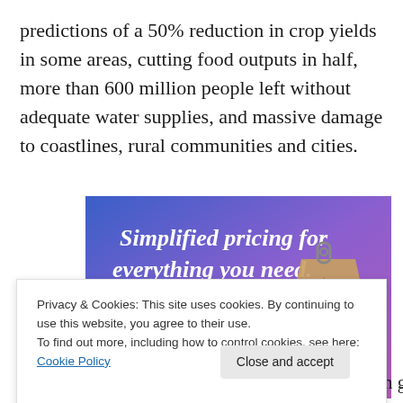predictions of a 50% reduction in crop yields in some areas, cutting food outputs in half, more than 600 million people left without adequate water supplies, and massive damage to coastlines, rural communities and cities.
[Figure (illustration): Advertisement banner with gradient purple-blue background showing text 'Simplified pricing for everything you need.' with a pink 'Build Your Website' button and a tan price tag graphic]
Privacy & Cookies: This site uses cookies. By continuing to use this website, you agree to their use.
To find out more, including how to control cookies, see here: Cookie Policy
Marching through the Conference Center African groups